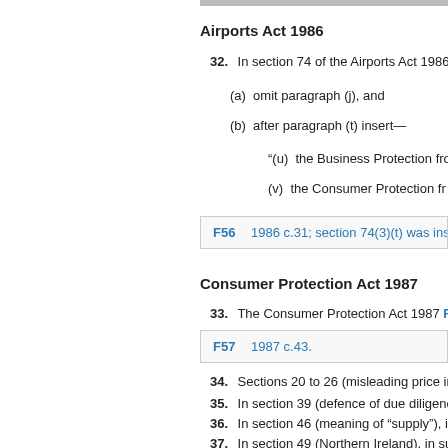Airports Act 1986
32. In section 74 of the Airports Act 1986
(a) omit paragraph (j), and
(b) after paragraph (t) insert—
"(u) the Business Protection fro
(v) the Consumer Protection fr
F56 1986 c.31; section 74(3)(t) was inserted
Consumer Protection Act 1987
33. The Consumer Protection Act 1987 F5
F57 1987 c.43.
34. Sections 20 to 26 (misleading price in
35. In section 39 (defence of due diligence
36. In section 46 (meaning of “supply”), in
37. In section 49 (Northern Ireland), in sub